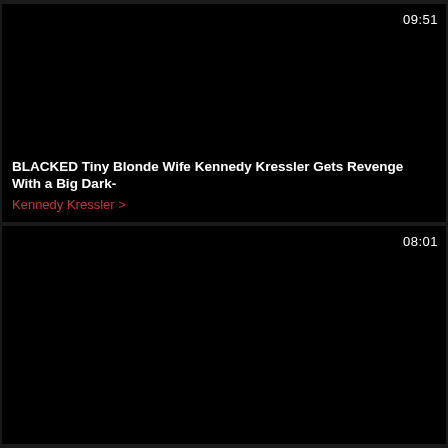[Figure (screenshot): Video thumbnail card with black background, duration badge '09:51' in top right, video title and author overlay at bottom]
BLACKED Tiny Blonde Wife Kennedy Kressler Gets Revenge With a Big Dark-
Kennedy Kressler >
[Figure (screenshot): Video thumbnail card with black background, duration badge '08:01' in top right]